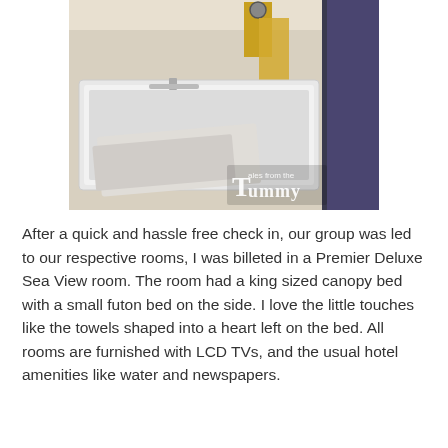[Figure (photo): Hotel bathroom photo showing a white bathtub with a yellow shower curtain, a towel draped over the tub edge, dark door frame on the right, and a watermark logo 'Tales from the Tummy' in the bottom right corner.]
After a quick and hassle free check in, our group was led to our respective rooms, I was billeted in a Premier Deluxe Sea View room. The room had a king sized canopy bed with a small futon bed on the side. I love the little touches like the towels shaped into a heart left on the bed. All rooms are furnished with LCD TVs, and the usual hotel amenities like water and newspapers.